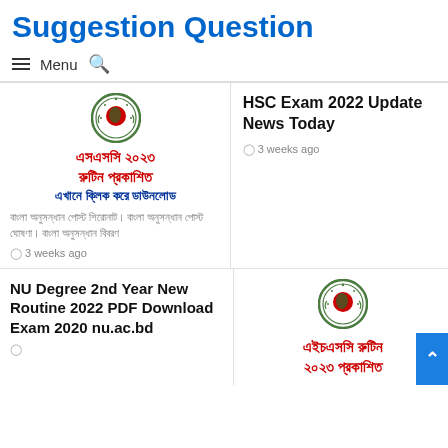Suggestion Question
☰ Menu 🔍
[Figure (illustration): Bangladesh national emblem (red and green circular seal) above Bengali text: এসএসসি ২০২৩ রুটিন প্রকাশিত এখানে ক্লিক করে ডাউনলোড]
বাংলা টেক্সট ব্লক (Bengali body text, unreadable)
3 weeks ago
HSC Exam 2022 Update News Today
3 weeks ago
NU Degree 2nd Year New Routine 2022 PDF Download Exam 2020 nu.ac.bd
[Figure (illustration): Bangladesh national emblem above Bengali text: এইচএসসি রুটিন ২০২৩ প্রকাশিত]